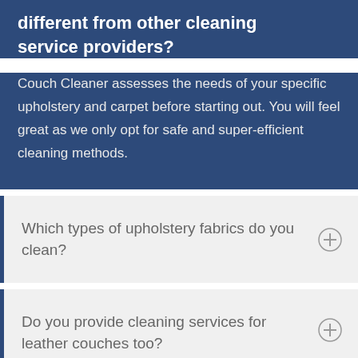different from other cleaning service providers?
Couch Cleaner assesses the needs of your specific upholstery and carpet before starting out. You will feel great as we only opt for safe and super-efficient cleaning methods.
Which types of upholstery fabrics do you clean?
Do you provide cleaning services for leather couches too?